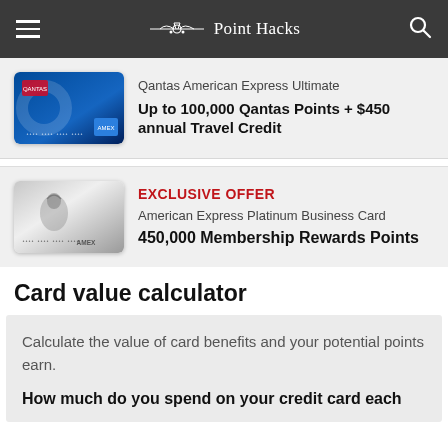Point Hacks
[Figure (other): Qantas American Express Ultimate card image]
Qantas American Express Ultimate
Up to 100,000 Qantas Points + $450 annual Travel Credit
[Figure (other): American Express Platinum Business Card image]
EXCLUSIVE OFFER
American Express Platinum Business Card
450,000 Membership Rewards Points
Card value calculator
Calculate the value of card benefits and your potential points earn.

How much do you spend on your credit card each